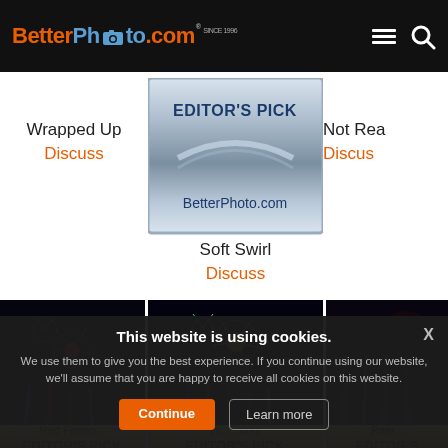[Figure (screenshot): BetterPhoto.com website navigation bar with logo and hamburger/search icons]
Wrapped Up
Discuss
[Figure (illustration): Editor's Pick badge with metallic blue-grey gradient and BetterPhoto.com text]
Not Rea
Discuss
Soft Swirl
Discuss
[Figure (photo): Night fireworks over water - left photo]
[Figure (photo): Night fireworks over water - center photo]
[Figure (photo): Night fireworks over water - right photo (partially cropped)]
[Figure (illustration): Editor's Pick badge left - gold gradient]
[Figure (illustration): Editor's Pick badge center - gold gradient]
[Figure (illustration): Editor's Pick badge right - gold gradient (partially cropped)]
Red Firewo...
Li... ...orks
Rain...
This website is using cookies.
We use them to give you the best experience. If you continue using our website, we'll assume that you are happy to receive all cookies on this website.
Continue
Learn more